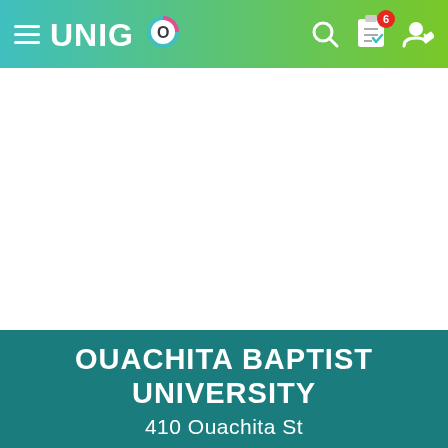UNIGO navigation bar with hamburger menu, Unigo logo, search icon, clipboard icon with badge 6, and user icon
[Figure (screenshot): White content area (advertisement or image placeholder)]
OUACHITA BAPTIST UNIVERSITY
410 Ouachita St